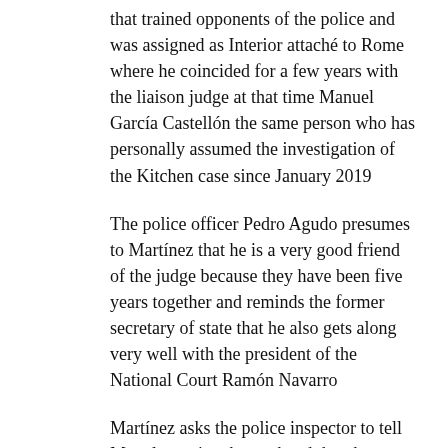that trained opponents of the police and was assigned as Interior attaché to Rome where he coincided for a few years with the liaison judge at that time Manuel García Castellón the same person who has personally assumed the investigation of the Kitchen case since January 2019
The police officer Pedro Agudo presumes to Martínez that he is a very good friend of the judge because they have been five years together and reminds the former secretary of state that he also gets along very well with the president of the National Court Ramón Navarro
Martínez asks the police inspector to tell Manolo to give them a hand that the prosecutors are very Taliban